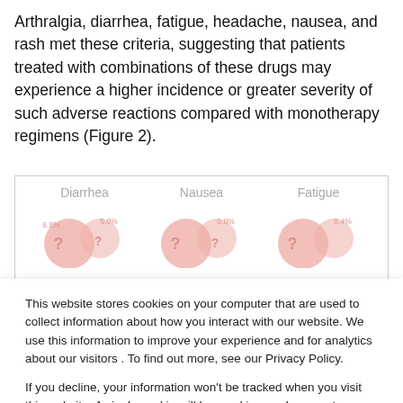Arthralgia, diarrhea, fatigue, headache, nausea, and rash met these criteria, suggesting that patients treated with combinations of these drugs may experience a higher incidence or greater severity of such adverse reactions compared with monotherapy regimens (Figure 2).
[Figure (other): Partial view of Figure 2 showing bubble/Venn diagram columns for Diarrhea (6.8%, 5.0%), Nausea (0.0%), and Fatigue (8.4%) adverse reaction comparisons, partially obscured by cookie consent overlay.]
This website stores cookies on your computer that are used to collect information about how you interact with our website. We use this information to improve your experience and for analytics about our visitors . To find out more, see our Privacy Policy.

If you decline, your information won't be tracked when you visit this website. A single cookie will be used in your browser to remember your preference not to be tracked.